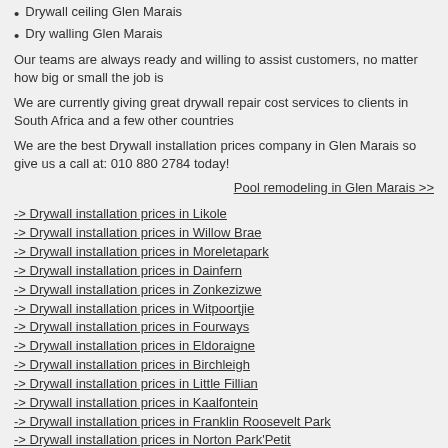Drywall ceiling Glen Marais
Dry walling Glen Marais
Our teams are always ready and willing to assist customers, no matter how big or small the job is
We are currently giving great drywall repair cost services to clients in South Africa and a few other countries
We are the best Drywall installation prices company in Glen Marais so give us a call at: 010 880 2784 today!
Pool remodeling in Glen Marais >>
-> Drywall installation prices in Likole
-> Drywall installation prices in Willow Brae
-> Drywall installation prices in Moreletapark
-> Drywall installation prices in Dainfern
-> Drywall installation prices in Zonkezizwe
-> Drywall installation prices in Witpoortjie
-> Drywall installation prices in Fourways
-> Drywall installation prices in Eldoraigne
-> Drywall installation prices in Birchleigh
-> Drywall installation prices in Little Fillian
-> Drywall installation prices in Kaalfontein
-> Drywall installation prices in Franklin Roosevelt Park
-> Drywall installation prices in Norton Park'Petit